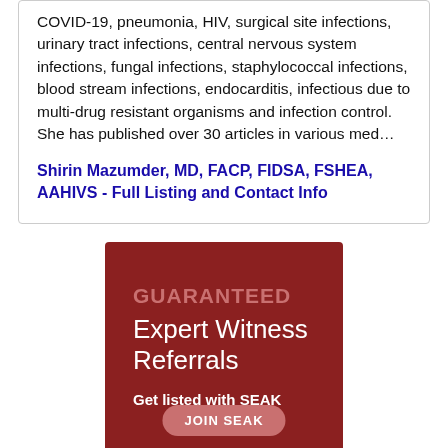COVID-19, pneumonia, HIV, surgical site infections, urinary tract infections, central nervous system infections, fungal infections, staphylococcal infections, blood stream infections, endocarditis, infectious due to multi-drug resistant organisms and infection control. She has published over 30 articles in various med...
Shirin Mazumder, MD, FACP, FIDSA, FSHEA, AAHIVS - Full Listing and Contact Info
[Figure (infographic): Dark red advertisement block with text: 'GUARANTEED' in muted pink uppercase, 'Expert Witness Referrals' in large white text, 'Get listed with SEAK' in bold white, and a pink 'JOIN SEAK' button at the bottom.]